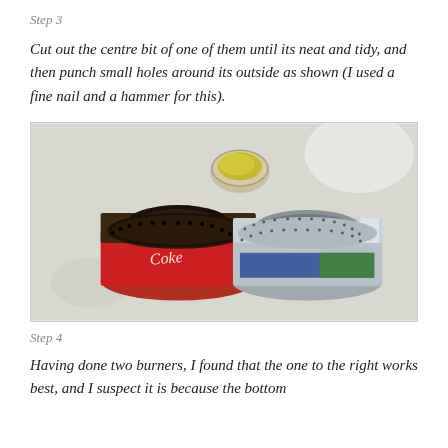Step 3
Cut out the centre bit of one of them until its neat and tidy, and then punch small holes around its outside as shown (I used a fine nail and a hammer for this).
[Figure (photo): Photo showing two homemade alcohol burner stoves made from soda cans. Left one is a used burnt Coca-Cola can burner, right one is a shiny new silver/aluminum can burner, both with small holes punched around the rim. A small container with yellow substance is visible in the background center.]
Step 4
Having done two burners, I found that the one to the right works best, and I suspect it is because the bottom